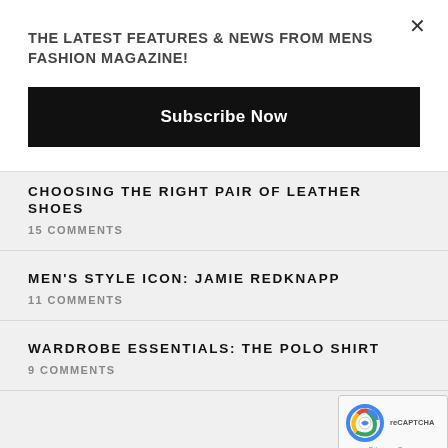THE LATEST FEATURES & NEWS FROM MENS FASHION MAGAZINE!
Subscribe Now
CHOOSING THE RIGHT PAIR OF LEATHER SHOES
15 COMMENTS
MEN'S STYLE ICON: JAMIE REDKNAPP
11 COMMENTS
WARDROBE ESSENTIALS: THE POLO SHIRT
9 COMMENTS
HOW TO WEAR THE LEATHER JACKET